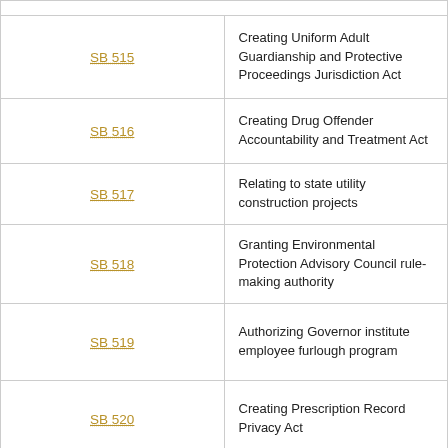| Bill | Description |
| --- | --- |
| SB 515 | Creating Uniform Adult Guardianship and Protective Proceedings Jurisdiction Act |
| SB 516 | Creating Drug Offender Accountability and Treatment Act |
| SB 517 | Relating to state utility construction projects |
| SB 518 | Granting Environmental Protection Advisory Council rule-making authority |
| SB 519 | Authorizing Governor institute employee furlough program |
| SB 520 | Creating Prescription Record Privacy Act |
| SB 521 | Including telecommunications devices as jail contraband |
| SB 522 | Relating to subsurface rights' lessors |
| SB 523 | Providing certain property tax assessment adjustments... |